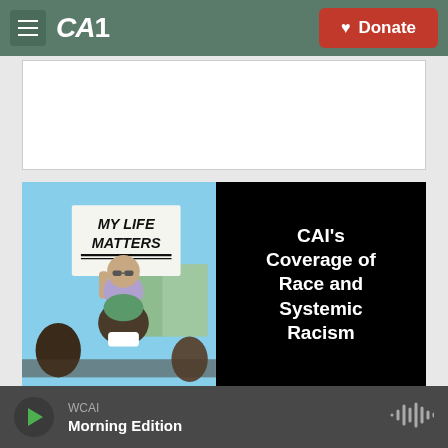CAI - Donate
[Figure (screenshot): CAI website screenshot showing navigation header with hamburger menu, CAI logo, and red Donate button]
[Figure (photo): Split image: left side shows a protest photo of a child on someone's shoulders holding a sign reading 'MY LIFE MATTERS'; right side is black with white bold text reading "CAI's Coverage of Race and Systemic Racism"]
WCAI
Morning Edition